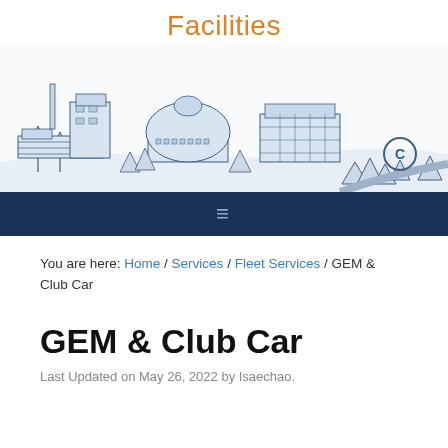Facilities
[Figure (illustration): Line drawing illustration of a university campus skyline with buildings, trees, and a road leading to a 'C' logo]
≡
You are here: Home / Services / Fleet Services / GEM & Club Car
GEM & Club Car
Last Updated on May 26, 2022 by Isaechao.